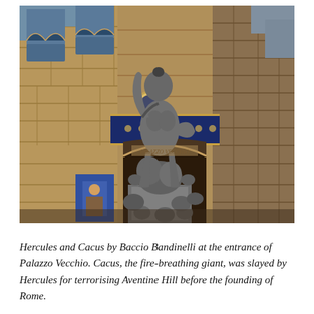[Figure (photo): Photograph looking upward at the Hercules and Cacus sculpture by Baccio Bandinelli at the entrance of Palazzo Vecchio in Florence. The large marble sculpture group shows Hercules overpowering Cacus. Behind it is the rusticated stone facade of Palazzo Vecchio with arched windows including blue-glazed biforate windows. A decorative blue and gold frieze is visible above the doorway arch.]
Hercules and Cacus by Baccio Bandinelli at the entrance of Palazzo Vecchio. Cacus, the fire-breathing giant, was slayed by Hercules for terrorising Aventine Hill before the founding of Rome.